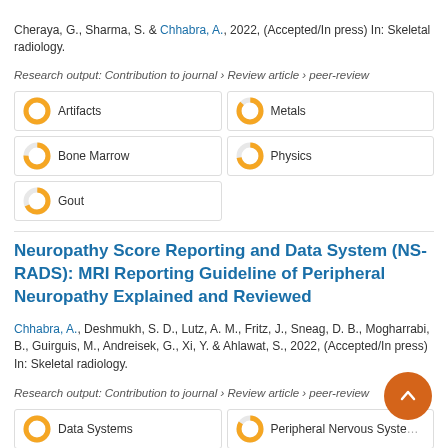Cheraya, G., Sharma, S. & Chhabra, A., 2022, (Accepted/In press) In: Skeletal radiology.
Research output: Contribution to journal › Review article › peer-review
Artifacts
Metals
Bone Marrow
Physics
Gout
Neuropathy Score Reporting and Data System (NS-RADS): MRI Reporting Guideline of Peripheral Neuropathy Explained and Reviewed
Chhabra, A., Deshmukh, S. D., Lutz, A. M., Fritz, J., Sneag, D. B., Mogharrabi, B., Guirguis, M., Andreisek, G., Xi, Y. & Ahlawat, S., 2022, (Accepted/In press) In: Skeletal radiology.
Research output: Contribution to journal › Review article › peer-review
Data Systems
Peripheral Nervous System